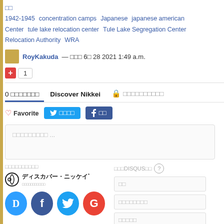□□ 1942-1945  concentration camps  Japanese  japanese american Center  tule lake relocation center  Tule Lake Segregation Center Relocation Authority  WRA
RoyKakuda — □□□ 6□ 28 2021 1:49 a.m.
+ 1
0 □□□□□□□   Discover Nikkei   🔒 □□□□□□□□□□
♡ Favorite   Twitter □□□□   f □□
□□□□□□□□□ ...
□□□□□□□□□□   □□□DISQUS□□ ?
[Figure (logo): Discover Nikkei logo with spiral icon and Japanese text ディスカバー・ニッケイ*]
□□
□□□□□□□□
□□□□□